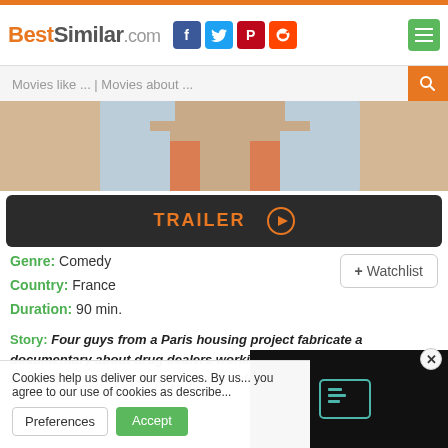[Figure (screenshot): BestSimilar.com website header with logo, social media icons (Facebook, Twitter, Pinterest, Reddit), and hamburger menu button]
Movies like ... | Movies about ...
[Figure (photo): Partial photo of a person wearing a light blue denim jacket and red shirt, cropped at the neck]
TRAILER ▶
Genre: Comedy
Country: France
Duration: 90 min.
+ Watchlist
Story: Four guys from a Paris housing project fabricate a documentary about drug dealers working in the City of Lights. When a television network falls h... prank video, the foursome are gi...
Cookies help us deliver our services. By us... you agree to our use of cookies as describe...
Preferences
Accept